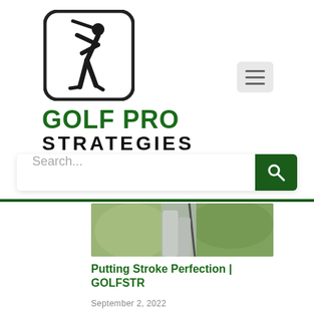[Figure (logo): Golf Pro Strategies logo: rounded square icon with stick figure golfer swinging, below which bold text reads GOLF PRO STRATEGIES in dark green and black]
[Figure (screenshot): Hamburger menu button (three horizontal lines) on light gray rounded square background]
[Figure (screenshot): Search bar with placeholder text 'Search...' and dark green search button with magnifying glass icon]
[Figure (photo): Partial photo of a golfer putting, showing lower body from waist down holding a putter on a golf course with blurred green background]
Putting Stroke Perfection | GOLFSTR
September 2, 2022